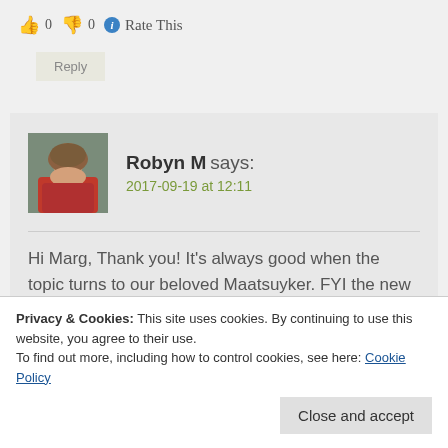👍 0 👎 0 ℹ Rate This
Reply
Robyn M says:
2017-09-19 at 12:11
Hi Marg, Thank you! It's always good when the topic turns to our beloved Maatsuyker. FYI the new caretakers have recently flown
Privacy & Cookies: This site uses cookies. By continuing to use this website, you agree to their use.
To find out more, including how to control cookies, see here: Cookie Policy
Close and accept